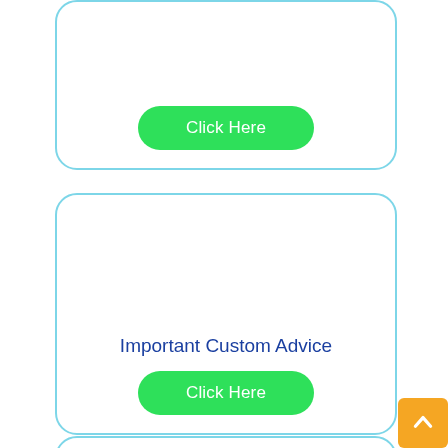[Figure (screenshot): Card with a green 'Click Here' button, partially visible at top]
Important Custom Advice
[Figure (screenshot): Green 'Click Here' button]
Helpful Packaging Advice
[Figure (screenshot): Green 'Click Here' button]